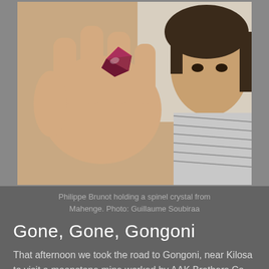[Figure (photo): A man holding up a dark red spinel crystal between his fingers against a light background, looking at the camera. He is wearing a patterned scarf.]
Philippe Brunot holding a spinel crystal from Mahenge. Photo: Guillaume Soubiraa
Gone, Gone, Gongoni
That afternoon we took the road to Gongoni, near Kilosa to visit a moonstone mine worked by AAK Brothers Co., Ltd. Moonstone was reported to have